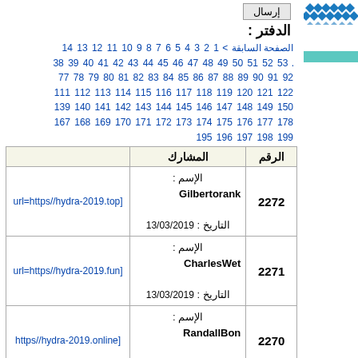إرسال (button)
الدفتر :
الصفحة السابقة > 1 2 3 4 5 6 7 8 9 10 11 12 13 14 . 38 39 40 41 42 43 44 45 46 47 48 49 50 51 52 53. 77 78 79 80 81 82 83 84 85 86 87 88 89 90 91 92 111 112 113 114 115 116 117 118 119 120 121 122 139 140 141 142 143 144 145 146 147 148 149 150 167 168 169 170 171 172 173 174 175 176 177 178 195 196 197 198 199
| الرقم | المشارك |  |
| --- | --- | --- |
| 2272 | الإسم : Gilbertorank التاريخ : 13/03/2019 | url=https//hydra-2019.top] |
| 2271 | الإسم : CharlesWet التاريخ : 13/03/2019 | url=https//hydra-2019.fun] |
| 2270 | الإسم : RandallBon التاريخ : 13/03/2019 | https//hydra-2019.online] |
| 2269 | الإسم : WalterMooxy التاريخ : ... | os//hydraruzxpnew4af.hk] |